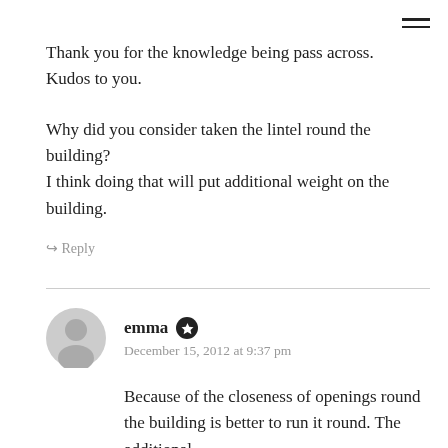Thank you for the knowledge being pass across. Kudos to you.
Why did you consider taken the lintel round the building?
I think doing that will put additional weight on the building.
↪ Reply
emma · December 15, 2012 at 9:37 pm
Because of the closeness of openings round the building is better to run it round. The additional